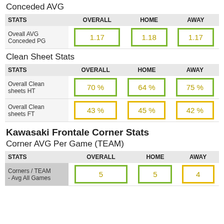Conceded AVG
| STATS | OVERALL | HOME | AWAY |
| --- | --- | --- | --- |
| Oveall AVG Conceded PG | 1.17 | 1.18 | 1.17 |
Clean Sheet Stats
| STATS | OVERALL | HOME | AWAY |
| --- | --- | --- | --- |
| Overall Clean sheets HT | 70 % | 64 % | 75 % |
| Overall Clean sheets FT | 43 % | 45 % | 42 % |
Kawasaki Frontale Corner Stats
Corner AVG Per Game (TEAM)
| STATS | OVERALL | HOME | AWAY |
| --- | --- | --- | --- |
| Corners / TEAM - Avg All Games | 5 | 5 | 4 |